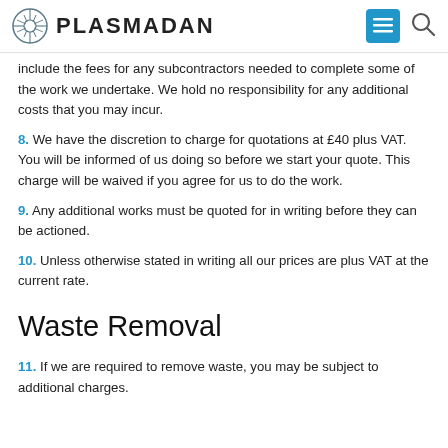PLASMADAN
include the fees for any subcontractors needed to complete some of the work we undertake. We hold no responsibility for any additional costs that you may incur.
8. We have the discretion to charge for quotations at £40 plus VAT. You will be informed of us doing so before we start your quote. This charge will be waived if you agree for us to do the work.
9. Any additional works must be quoted for in writing before they can be actioned.
10. Unless otherwise stated in writing all our prices are plus VAT at the current rate.
Waste Removal
11. If we are required to remove waste, you may be subject to additional charges.